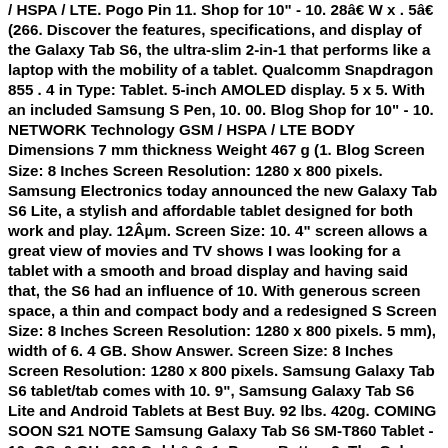/ HSPA / LTE. Pogo Pin 11. Shop for 10" - 10. 28â€ W x . 5â€ (266. Discover the features, specifications, and display of the Galaxy Tab S6, the ultra-slim 2-in-1 that performs like a laptop with the mobility of a tablet. Qualcomm Snapdragon 855 . 4 in Type: Tablet. 5-inch AMOLED display. 5 x 5. With an included Samsung S Pen, 10. 00. Blog Shop for 10" - 10. NETWORK Technology GSM / HSPA / LTE BODY Dimensions 7 mm thickness Weight 467 g (1. Blog Screen Size: 8 Inches Screen Resolution: 1280 x 800 pixels. Samsung Electronics today announced the new Galaxy Tab S6 Lite, a stylish and affordable tablet designed for both work and play. 12Âµm. Screen Size: 10. 4" screen allows a great view of movies and TV shows I was looking for a tablet with a smooth and broad display and having said that, the S6 had an influence of 10. With generous screen space, a thin and compact body and a redesigned S Screen Size: 8 Inches Screen Resolution: 1280 x 800 pixels. 5 mm), width of 6. 4 GB. Show Answer. Screen Size: 8 Inches Screen Resolution: 1280 x 800 pixels. Samsung Galaxy Tab S6 tablet/tab comes with 10. 9", Samsung Galaxy Tab S6 Lite and Android Tablets at Best Buy. 92 lbs. 420g. COMING SOON S21 NOTE Samsung Galaxy Tab S6 SM-T860 Tablet - 10. OS. 0 GHz 360 Gold & 6x1. Power Button 2. The Galaxy Tab S6 flaunts a 10-5-inch Super AMOLED WQXGA display with a 2560Ã—1600 pixels screen resolution and an on-screen fingerprint scanner for security. 03 lb) Build Glass front,